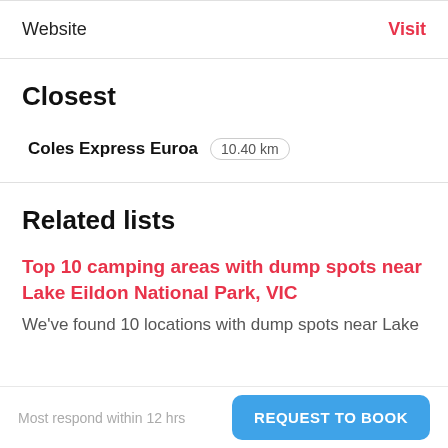Website
Visit
Closest
Coles Express Euroa  10.40 km
Related lists
Top 10 camping areas with dump spots near Lake Eildon National Park, VIC
We've found 10 locations with dump spots near Lake
Most respond within 12 hrs
REQUEST TO BOOK